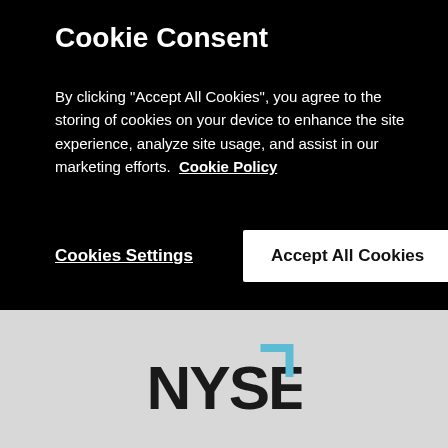Cookie Consent
By clicking “Accept All Cookies”, you agree to the storing of cookies on your device to enhance the site experience, analyze site usage, and assist in our marketing efforts.  Cookie Policy
Cookies Settings
Accept All Cookies
designed for sale to the retail investor, typically denominated in $50, $25 or $10.
[Figure (logo): NYSE logo with black text and blue corner bracket mark]